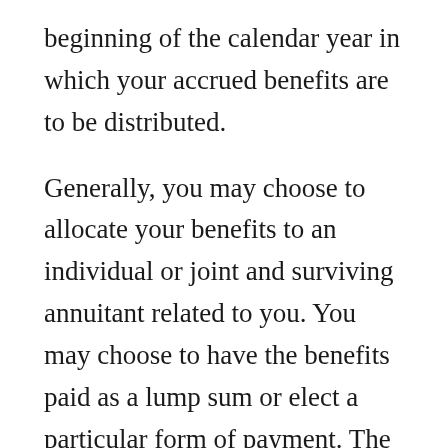beginning of the calendar year in which your accrued benefits are to be distributed.
Generally, you may choose to allocate your benefits to an individual or joint and surviving annuitant related to you. You may choose to have the benefits paid as a lump sum or elect a particular form of payment. The lump-sum payment will generally be payable in cash (although it may be provided in employer stock or other securities). It will generally be no more than a year’s salary (the Department of Labor has further limitations on this election).